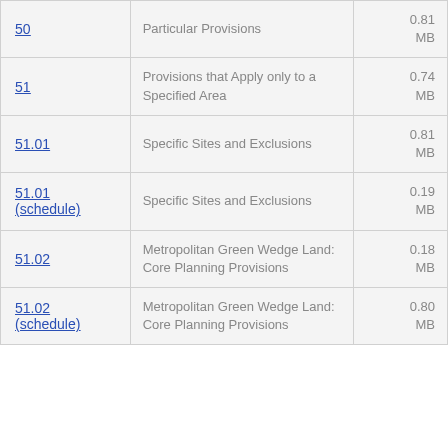|  | Description | Size |
| --- | --- | --- |
| 50 | Particular Provisions | 0.81 MB |
| 51 | Provisions that Apply only to a Specified Area | 0.74 MB |
| 51.01 | Specific Sites and Exclusions | 0.81 MB |
| 51.01 (schedule) | Specific Sites and Exclusions | 0.19 MB |
| 51.02 | Metropolitan Green Wedge Land: Core Planning Provisions | 0.18 MB |
| 51.02 (schedule) | Metropolitan Green Wedge Land: Core Planning Provisions | 0.80 MB |